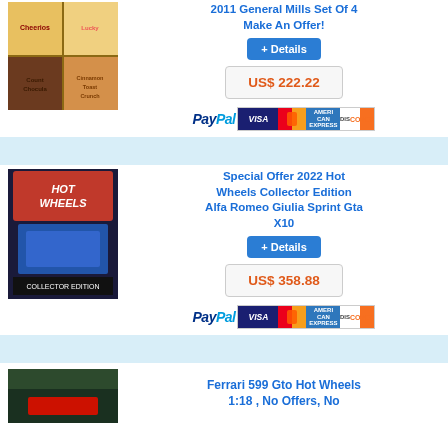2011 General Mills Set Of 4 Make An Offer!
+ Details
US$ 222.22
[Figure (logo): PayPal and credit card payment icons (Visa, MasterCard, American Express, Discover)]
[Figure (photo): Hot Wheels 2022 Collector Edition Alfa Romeo Giulia Sprint Gta toy car in packaging]
Special Offer 2022 Hot Wheels Collector Edition Alfa Romeo Giulia Sprint Gta X10
+ Details
US$ 358.88
[Figure (logo): PayPal and credit card payment icons (Visa, MasterCard, American Express, Discover)]
[Figure (photo): Ferrari 599 Gto Hot Wheels 1:18 car photo]
Ferrari 599 Gto Hot Wheels 1:18 , No Offers, No